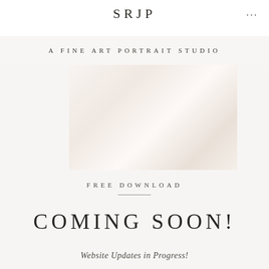SRJP
A FINE ART PORTRAIT STUDIO
[Figure (photo): A soft, high-key fine art portrait photo with a light, airy aesthetic in pale pink/white tones showing draped fabric or a figure in white.]
FREE DOWNLOAD
COMING SOON!
Website Updates in Progress!